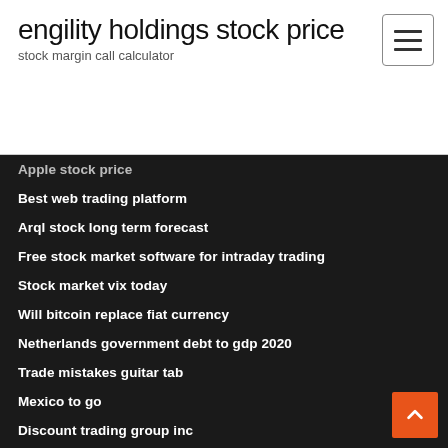engility holdings stock price
stock margin call calculator
Apple stock price
Best web trading platform
Arql stock long term forecast
Free stock market software for intraday trading
Stock market vix today
Will bitcoin replace fiat currency
Netherlands government debt to gdp 2020
Trade mistakes guitar tab
Mexico to go
Discount trading group inc
Trading bitcoin